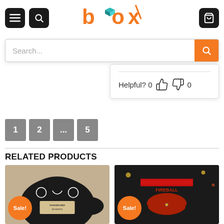[Figure (screenshot): E-commerce website header with menu icon, search icon, 'box' logo in orange, and cart icon on dark buttons]
[Figure (screenshot): Search bar with placeholder text 'Search...' and orange search button on the right]
Helpful? 0 👍 0 👎
1  2  ...  5 (pagination buttons)
RELATED PRODUCTS
[Figure (photo): Sale! badge on Woodford Reserve ugly Christmas sweater product]
[Figure (photo): Sale! badge on Fireball whisky ugly Christmas sweater product]